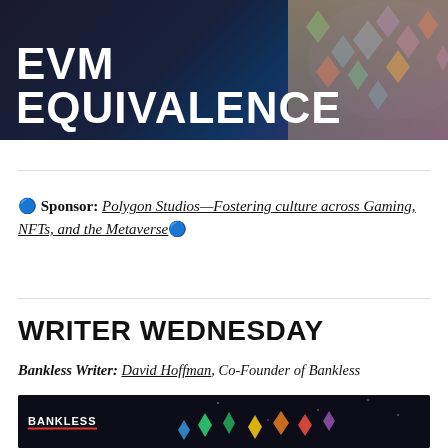[Figure (photo): Banner image with dark background showing 'EVM EQUIVALENCE' text in large white bold letters, with colorful crystal/diamond geometric shapes and a person in the background]
🔵 Sponsor: Polygon Studios—Fostering culture across Gaming, NFTs, and the Metaverse🔵
WRITER WEDNESDAY
Bankless Writer: David Hoffman, Co-Founder of Bankless
[Figure (photo): Bottom banner with BANKLESS label in white on dark background, showing colorful 3D geometric ethereum crystal shapes in green, yellow, orange, red, blue scattered across dark space background]